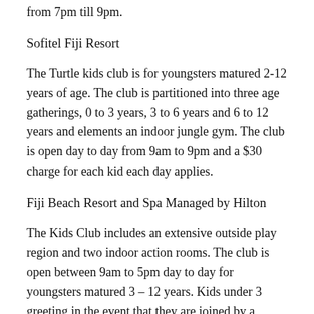from 7pm till 9pm.
Sofitel Fiji Resort
The Turtle kids club is for youngsters matured 2-12 years of age. The club is partitioned into three age gatherings, 0 to 3 years, 3 to 6 years and 6 to 12 years and elements an indoor jungle gym. The club is open day to day from 9am to 9pm and a $30 charge for each kid each day applies.
Fiji Beach Resort and Spa Managed by Hilton
The Kids Club includes an extensive outside play region and two indoor action rooms. The club is open between 9am to 5pm day to day for youngsters matured 3 – 12 years. Kids under 3 greeting in the event that they are joined by a parent or babysitter. The club has exercises explicitly intended for various age gatherings. The children club is free of any visit...